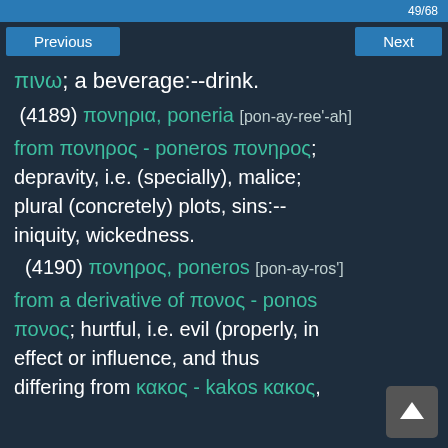49/68
Previous   Next
πινω; a beverage:--drink.
(4189) πονηρια, poneria [pon-ay-ree'-ah]
from πονηρος - poneros πονηρος; depravity, i.e. (specially), malice; plural (concretely) plots, sins:--iniquity, wickedness.
(4190) πονηρος, poneros [pon-ay-ros']
from a derivative of πονος - ponos πονος; hurtful, i.e. evil (properly, in effect or influence, and thus differing from κακος - kakos κακος,